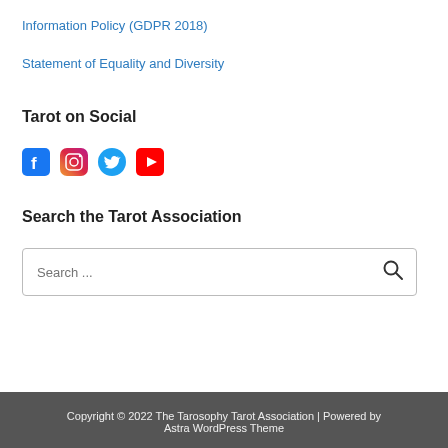Information Policy (GDPR 2018)
Statement of Equality and Diversity
Tarot on Social
[Figure (infographic): Four social media icons: Facebook (blue square), Instagram (gradient circle), Twitter (blue bird circle), YouTube (red play button circle)]
Search the Tarot Association
[Figure (screenshot): Search input box with placeholder text 'Search ...' and a search icon button on the right]
Copyright © 2022 The Tarosophy Tarot Association | Powered by Astra WordPress Theme